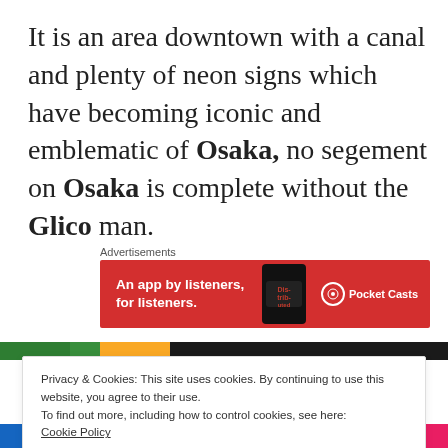It is an area downtown with a canal and plenty of neon signs which have becoming iconic and emblematic of Osaka, no segement on Osaka is complete without the Glico man.
Advertisements
[Figure (photo): Pocket Casts advertisement banner: red background with text 'An app by listeners, for listeners.' on the left, a phone with 'Distributed' text in the center, and Pocket Casts logo on the right.]
[Figure (photo): Top strip of a photo showing colorful neon signs in Osaka, green and yellow tones.]
Privacy & Cookies: This site uses cookies. By continuing to use this website, you agree to their use.
To find out more, including how to control cookies, see here:
Cookie Policy
Close and accept
[Figure (photo): Bottom strip of a photo showing a person performing in colorful neon-lit Osaka scene.]